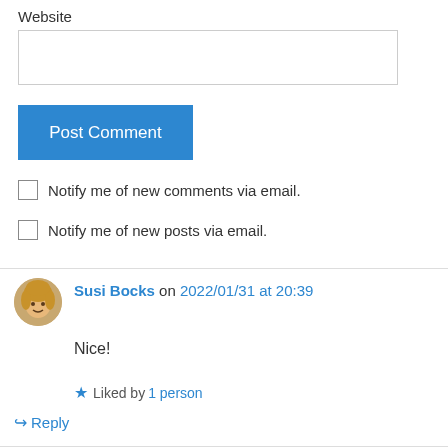Website
Post Comment
Notify me of new comments via email.
Notify me of new posts via email.
Susi Bocks on 2022/01/31 at 20:39
Nice!
Liked by 1 person
Reply